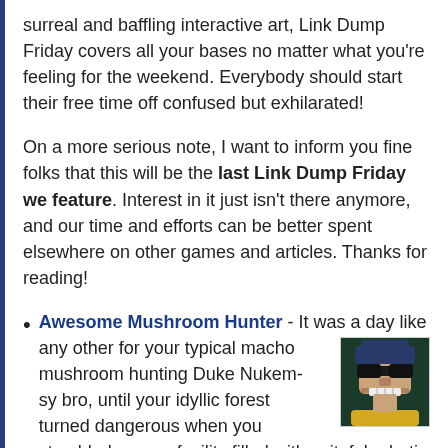surreal and baffling interactive art, Link Dump Friday covers all your bases no matter what you're feeling for the weekend. Everybody should start their free time off confused but exhilarated!
On a more serious note, I want to inform you fine folks that this will be the last Link Dump Friday we feature. Interest in it just isn't there anymore, and our time and efforts can be better spent elsewhere on other games and articles. Thanks for reading!
Awesome Mushroom Hunter - It was a day like any other for your typical macho mushroom hunting Duke Nukem-sy bro, until your idyllic forest turned dangerous when you stumbled upon a facility filled with spiteful robotic AI and enemies! Now you've got to trade in your mushroom huntin' stick for something with a little